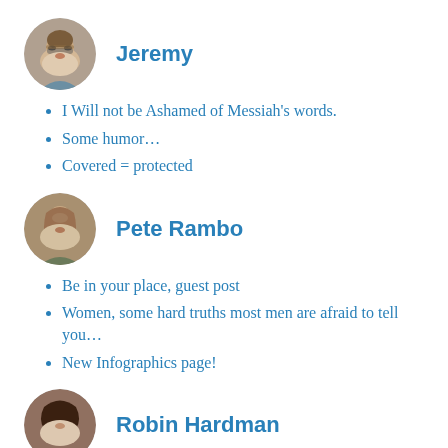[Figure (photo): Circular avatar photo of a man with glasses and beard, Jeremy]
Jeremy
I Will not be Ashamed of Messiah's words.
Some humor…
Covered = protected
[Figure (photo): Circular avatar photo of a person with shoulder-length hair, Pete Rambo]
Pete Rambo
Be in your place, guest post
Women, some hard truths most men are afraid to tell you…
New Infographics page!
[Figure (photo): Circular avatar photo of a woman with dark hair, Robin Hardman]
Robin Hardman